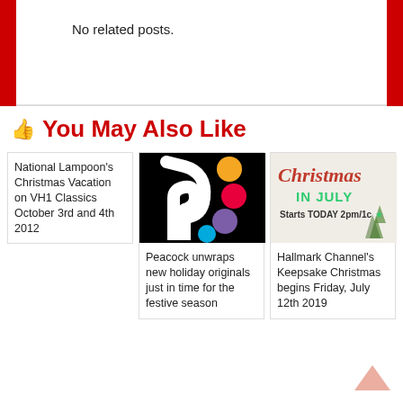No related posts.
You May Also Like
National Lampoon's Christmas Vacation on VH1 Classics October 3rd and 4th 2012
[Figure (photo): Peacock logo on black background with colorful dots]
Peacock unwraps new holiday originals just in time for the festive season
[Figure (photo): Hallmark Channel Christmas in July promotional image - Starts TODAY 2pm/1c]
Hallmark Channel's Keepsake Christmas begins Friday, July 12th 2019